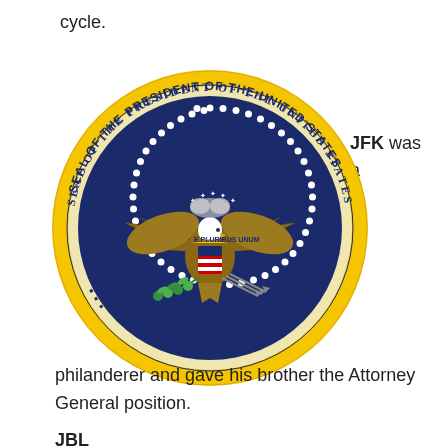cycle.
[Figure (illustration): Seal of the President of the United States — circular seal with gold outer ring, dark navy inner ring with white stars and text reading 'SEAL OF THE PRESIDENT OF THE UNITED STATES', and center emblem featuring the American bald eagle with shield, olive branch, arrows, and E Pluribus Unum banner.]
JFK was a
philanderer and gave his brother the Attorney General position.
JBL